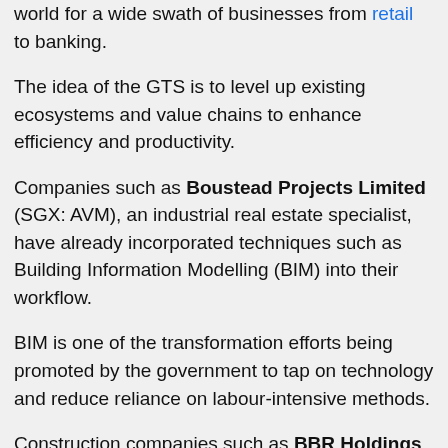world for a wide swath of businesses from retail to banking.
The idea of the GTS is to level up existing ecosystems and value chains to enhance efficiency and productivity.
Companies such as Boustead Projects Limited (SGX: AVM), an industrial real estate specialist, have already incorporated techniques such as Building Information Modelling (BIM) into their workflow.
BIM is one of the transformation efforts being promoted by the government to tap on technology and reduce reliance on labour-intensive methods.
Construction companies such as BBR Holdings (SGX: KJ5), Lian Beng Group (SGX: L03), Chip Eng Seng (SGX: C29) and Lum Chang (SGX: L19) stand to benefit from this digitalisation.